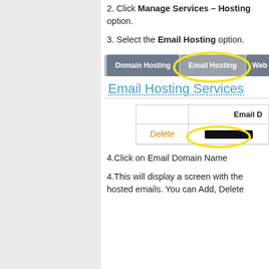2. Click Manage Services – Hosting option.
3. Select the Email Hosting option.
[Figure (screenshot): Screenshot showing a tab bar with 'Domain Hosting', 'Email Hosting' (circled in yellow), and 'Web Ho...' tabs, followed by an 'Email Hosting Services' heading and a table with a 'Delete' link and a redacted email domain name circled in yellow.]
4.Click on Email Domain Name
4.This will display a screen with the hosted emails. You can Add, Delete